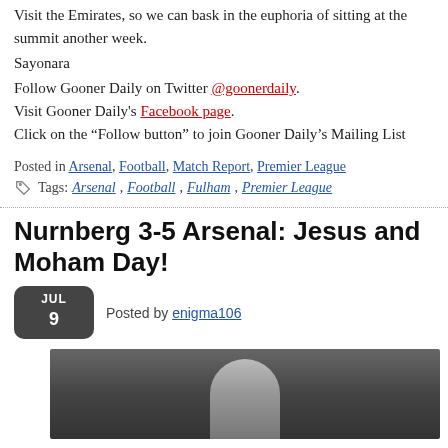Visit the Emirates, so we can bask in the euphoria of sitting at the summit another week.
Sayonara
Follow Gooner Daily on Twitter @goonerdaily.
Visit Gooner Daily's Facebook page.
Click on the “Follow button” to join Gooner Daily’s Mailing List
Posted in Arsenal, Football, Match Report, Premier League
Tags: Arsenal, Football, Fulham, Premier League
Nurnberg 3-5 Arsenal: Jesus and Moham Day!
JUL 9 Posted by enigma106
[Figure (photo): Photo of a person, partially visible, cropped at bottom of page]